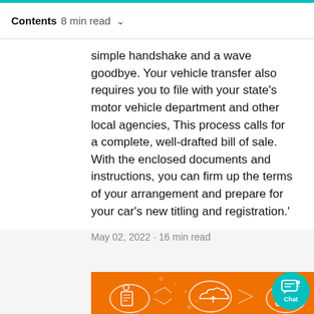Contents  8 min read  ∨
simple handshake and a wave goodbye. Your vehicle transfer also requires you to file with your state's motor vehicle department and other local agencies, This process calls for a complete, well-drafted bill of sale. With the enclosed documents and instructions, you can firm up the terms of your arrangement and prepare for your car's new titling and registration.'
May 02, 2022 · 16 min read
[Figure (illustration): Orange banner with white outline icons representing document, cloud upload, and calendar on an orange background with decorative arrows and circles]